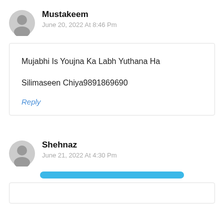Mustakeem
June 20, 2022 At 8:46 Pm
Mujabhi Is Youjna Ka Labh Yuthana Ha

Silimaseen Chiya9891869690
Reply
Shehnaz
June 21, 2022 At 4:30 Pm